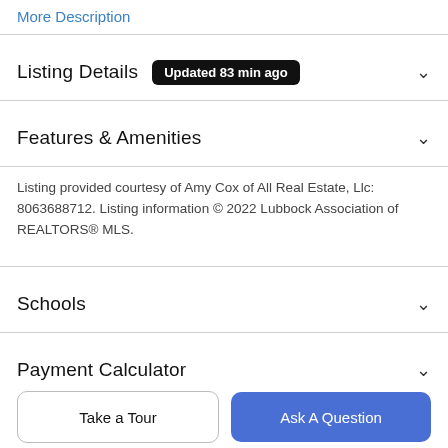More Description
Listing Details Updated 83 min ago
Features & Amenities
Listing provided courtesy of Amy Cox of All Real Estate, Llc: 8063688712. Listing information © 2022 Lubbock Association of REALTORS® MLS.
Schools
Payment Calculator
Contact Agent
Take a Tour
Ask A Question